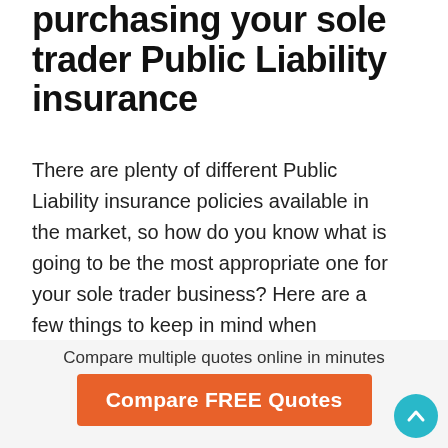purchasing your sole trader Public Liability insurance
There are plenty of different Public Liability insurance policies available in the market, so how do you know what is going to be the most appropriate one for your sole trader business? Here are a few things to keep in mind when shopping around for your sole trader Public Liability insurance.
Are my business activities covered?
Compare multiple quotes online in minutes
Compare FREE Quotes